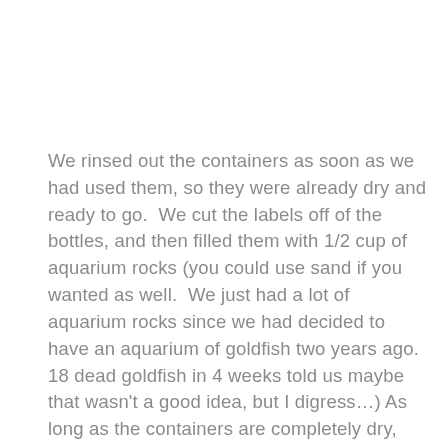We rinsed out the containers as soon as we had used them, so they were already dry and ready to go.  We cut the labels off of the bottles, and then filled them with 1/2 cup of aquarium rocks (you could use sand if you wanted as well.  We just had a lot of aquarium rocks since we had decided to have an aquarium of goldfish two years ago.  18 dead goldfish in 4 weeks told us maybe that wasn't a good idea, but I digress…) As long as the containers are completely dry, glue the lids onto the containers, and the snap part of the lid shut.  I then printed labels with the various topics and an associated picture (I can email you the file if you want them) and stuck the labels to the bottles.  We use the